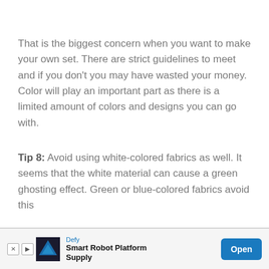That is the biggest concern when you want to make your own set. There are strict guidelines to meet and if you don't you may have wasted your money. Color will play an important part as there is a limited amount of colors and designs you can go with.
Tip 8: Avoid using white-colored fabrics as well. It seems that the white material can cause a green ghosting effect. Green or blue-colored fabrics avoid this
[Figure (screenshot): Advertisement banner: Defy Smart Robot Platform Supply with Open button]